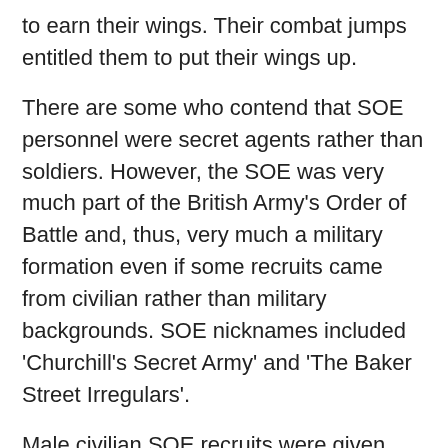to earn their wings. Their combat jumps entitled them to put their wings up.
There are some who contend that SOE personnel were secret agents rather than soldiers. However, the SOE was very much part of the British Army's Order of Battle and, thus, very much a military formation even if some recruits came from civilian rather than military backgrounds. SOE nicknames included 'Churchill's Secret Army' and 'The Baker Street Irregulars'.
Male civilian SOE recruits were given General List commissions whilst their female comrades were given commissions in the First Aid Nursing Yeomanry, known as FANY, in the hope that this status would afford them the protection of The